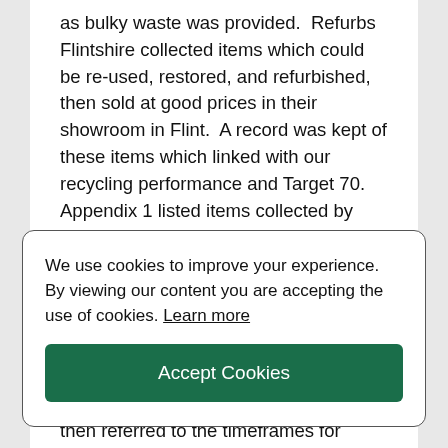as bulky waste was provided. Refurbs Flintshire collected items which could be re-used, restored, and refurbished, then sold at good prices in their showroom in Flint. A record was kept of these items which linked with our recycling performance and Target 70. Appendix 1 listed items collected by Refurbs, but she confirmed that home improvement waste such as kitchens, bathrooms, garden upgrades were not able to be recycled using this service. The
We use cookies to improve your experience. By viewing our content you are accepting the use of cookies. Learn more
Accept Cookies
then referred to the timeframes for